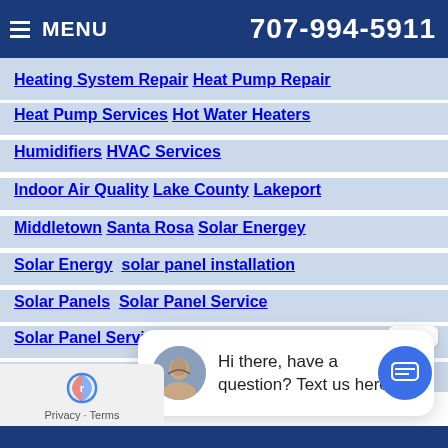MENU  707-994-5911
Heating System Repair   Heat Pump Repair
Heat Pump Services   Hot Water Heaters
Humidifiers   HVAC Services
Indoor Air Quality   Lake County   Lakeport
Middletown   Santa Rosa   Solar Energey
Solar Energy   solar panel installation
Solar Panels   Solar Panel Service
Solar Panel Services   Solar Power   St. He.
St Louis
close
Hi there, have a question? Text us here.
Privacy · Terms